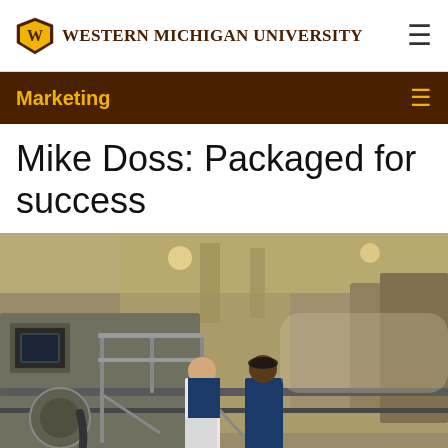Western Michigan University
Marketing
Mike Doss: Packaged for success
[Figure (photo): Two men in blue shirts standing on a metal walkway/platform inside an industrial packaging or paper manufacturing facility with large machinery, pipes, and equipment visible in the background.]